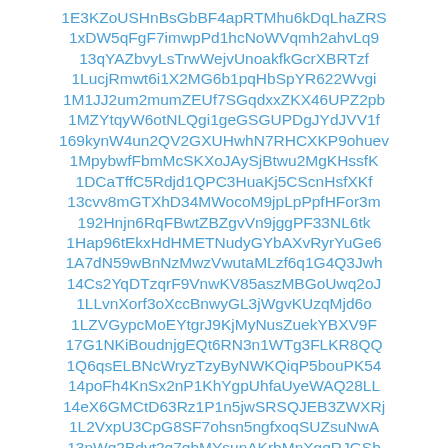1E3KZoUSHnBsGbBF4apRTMhu6kDqLhaZRS
1xDW5qFgF7imwpPd1hcNoWVqmh2ahvLq9
13qYAZbvyLsTrwWejvUnoakfkGcrXBRTzf
1LucjRmwt6i1X2MG6b1pqHbSpYR622Wvgi
1M1JJ2um2mumZEUf7SGqdxxZKX46UPZ2pb
1MZYtqyW6otNLQgi1geGSGUPDgJYdJVV1f
169kynW4un2QV2GXUHwhN7RHCXKP9ohuev
1MpybwfFbmMcSKXoJAySjBtwu2MgKHssfK
1DCaTffC5Rdjd1QPC3HuaKj5CScnHsfXKf
13cvv8mGTXhD34MWocoM9jpLpPpfHFor3m
192Hnjn6RqFBwtZBZgvVn9jggPF33NL6tk
1Hap96tEkxHdHMETNudyGYbAXvRyrYuGe6
1A7dN59wBnNzMwzVwutaMLzf6q1G4Q3Jwh
14Cs2YqDTzqrF9VnwKV85aszMBGoUwq2oJ
1LLvnXorf3oXccBnwyGL3jWgvKUzqMjd6o
1LZVGypcMoEYtgrJ9KjMyNusZuekYBXV9F
17G1NKiBoudnjgEQt6RN3n1WTg3FLKR8QQ
1Q6qsELBNcWryzTzyByNWKQiqP5bouPK54
14poFh4KnSx2nP1KhYgpUhfaUyeWAQ28LL
14eX6GMCtD63Rz1P1n5jwSRSQJEB3ZWXRj
1L2VxpU3CpG8SF7ohsn5ngfxoqSUZsuNwA
13nWq2Bdyt2q7qbMYsunAKrbMnXgqRJGSb